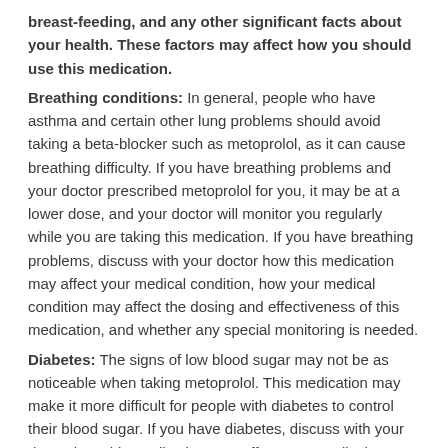breast-feeding, and any other significant facts about your health. These factors may affect how you should use this medication.
Breathing conditions: In general, people who have asthma and certain other lung problems should avoid taking a beta-blocker such as metoprolol, as it can cause breathing difficulty. If you have breathing problems and your doctor prescribed metoprolol for you, it may be at a lower dose, and your doctor will monitor you regularly while you are taking this medication. If you have breathing problems, discuss with your doctor how this medication may affect your medical condition, how your medical condition may affect the dosing and effectiveness of this medication, and whether any special monitoring is needed.
Diabetes: The signs of low blood sugar may not be as noticeable when taking metoprolol. This medication may make it more difficult for people with diabetes to control their blood sugar. If you have diabetes, discuss with your doctor how this medication may affect your medical condition, how your